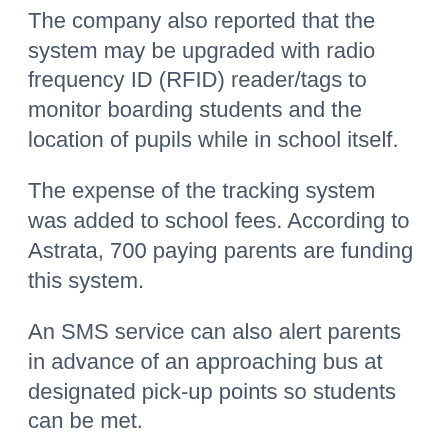The company also reported that the system may be upgraded with radio frequency ID (RFID) reader/tags to monitor boarding students and the location of pupils while in school itself.
The expense of the tracking system was added to school fees. According to Astrata, 700 paying parents are funding this system.
An SMS service can also alert parents in advance of an approaching bus at designated pick-up points so students can be met.
The bus driver's driving performance--speeding, harsh-breaking, and acceleration--can also be monitored.
Astrata Group creates location-based IT services and programs that combine GPS positioning